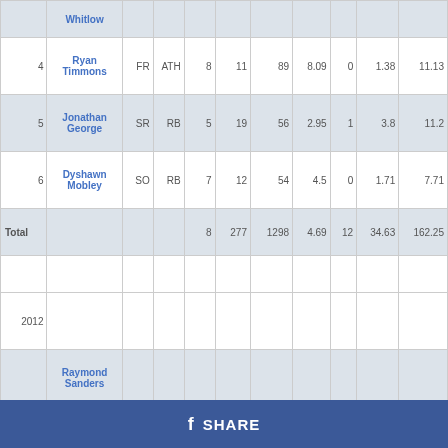| # | Name | Yr | Pos | G | Car | Yds | Avg | TD | Avg/G | Ypg |
| --- | --- | --- | --- | --- | --- | --- | --- | --- | --- | --- |
|  | Whitlow |  |  |  |  |  |  |  |  |  |
| 4 | Ryan Timmons | FR | ATH | 8 | 11 | 89 | 8.09 | 0 | 1.38 | 11.13 |
| 5 | Jonathan George | SR | RB | 5 | 19 | 56 | 2.95 | 1 | 3.8 | 11.2 |
| 6 | Dyshawn Mobley | SO | RB | 7 | 12 | 54 | 4.5 | 0 | 1.71 | 7.71 |
| Total |  |  |  | 8 | 277 | 1298 | 4.69 | 12 | 34.63 | 162.25 |
|  |  |  |  |  |  |  |  |  |  |  |
| 2012 |  |  |  |  |  |  |  |  |  |  |
|  | Raymond Sanders |  |  |  |  |  |  |  |  |  |
f SHARE